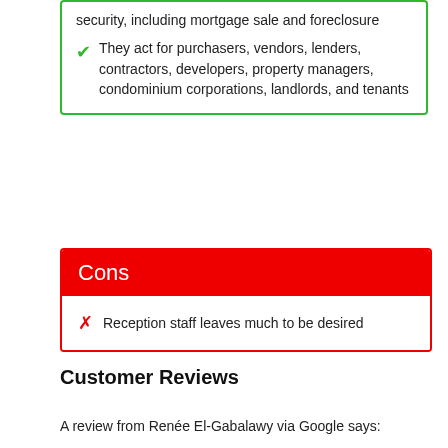security, including mortgage sale and foreclosure
They act for purchasers, vendors, lenders, contractors, developers, property managers, condominium corporations, landlords, and tenants
Cons
Reception staff leaves much to be desired
Customer Reviews
A review from Renée El-Gabalawy via Google says: